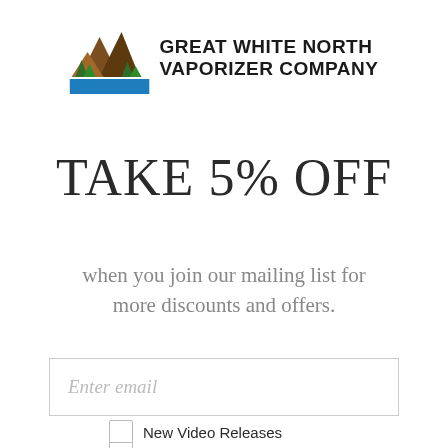[Figure (logo): Great White North Vaporizer Company logo: mountain peaks in brown with green pine trees and a blue river/road at bottom, with bold uppercase text 'GREAT WHITE NORTH VAPORIZER COMPANY' to the right]
TAKE 5% OFF
when you join our mailing list for more discounts and offers.
Enter email
New Video Releases
Sales & Discounts Only